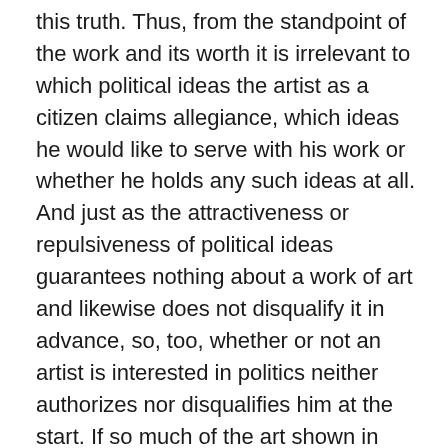this truth. Thus, from the standpoint of the work and its worth it is irrelevant to which political ideas the artist as a citizen claims allegiance, which ideas he would like to serve with his work or whether he holds any such ideas at all. And just as the attractiveness or repulsiveness of political ideas guarantees nothing about a work of art and likewise does not disqualify it in advance, so, too, whether or not an artist is interested in politics neither authorizes nor disqualifies him at the start. If so much of the art shown in official exhibits is indeed below average, and better art can be found only on the periphery of public art (in marginal or seem-official exhibition halls) or entirely beyond public view (in studios), then this is so not because the creators of the former involve themselves in politics while those of the latter do not, but simply because the prospect of public recognition and lucrative